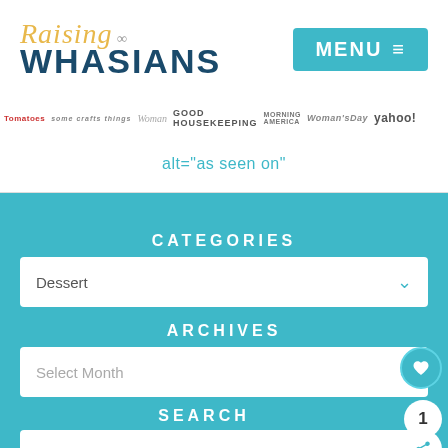[Figure (logo): Raising Whasians blog logo with stylized text]
MENU ☰
[Figure (logo): Press logos bar: Tomatoes, Good Housekeeping, Morning America, WomansDay, yahoo!]
alt="as seen on"
CATEGORIES
Dessert
ARCHIVES
Select Month
SEARCH
Search Raising Whasians...